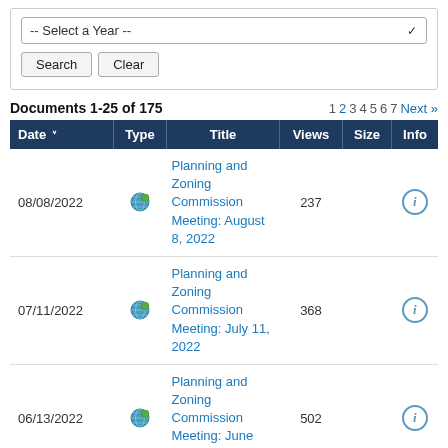-- Select a Year --
Search  Clear
Documents 1-25 of 175
| Date | Type | Title | Views | Size | Info |
| --- | --- | --- | --- | --- | --- |
| 08/08/2022 | [globe] | Planning and Zoning Commission Meeting: August 8, 2022 | 237 |  | [i] |
| 07/11/2022 | [globe] | Planning and Zoning Commission Meeting: July 11, 2022 | 368 |  | [i] |
| 06/13/2022 | [globe] | Planning and Zoning Commission Meeting: June 13, 2022 | 502 |  | [i] |
| 05/09/2022 | [globe] | Planning and Zoning Commission Meeting: May 9, 2022 | 768 |  | [i] |
| 04/11/2022 | [globe] | Planning and Zoning Commission Meeting: April | 635 |  | [i] |